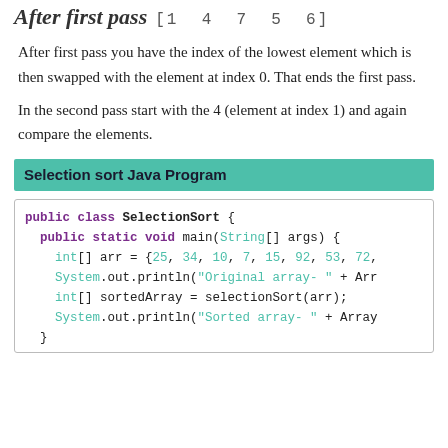After first pass  [1  4  7  5  6]
After first pass you have the index of the lowest element which is then swapped with the element at index 0. That ends the first pass.
In the second pass start with the 4 (element at index 1) and again compare the elements.
Selection sort Java Program
[Figure (screenshot): Java code block showing public class SelectionSort with main method, int array initialization, System.out.println calls, and selectionSort method call.]